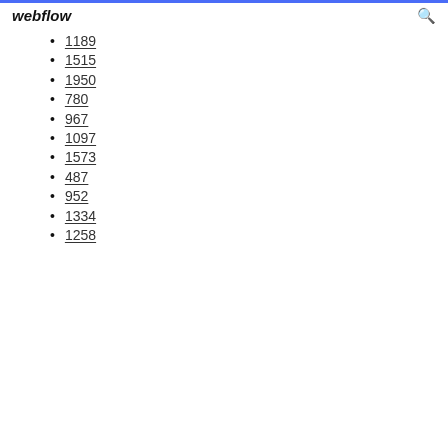webflow
1189
1515
1950
780
967
1097
1573
487
952
1334
1258